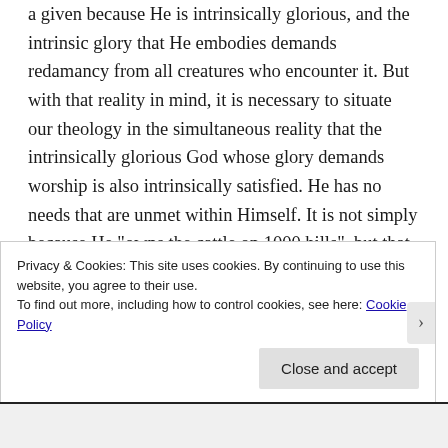a given because He is intrinsically glorious, and the intrinsic glory that He embodies demands redamancy from all creatures who encounter it. But with that reality in mind, it is necessary to situate our theology in the simultaneous reality that the intrinsically glorious God whose glory demands worship is also intrinsically satisfied. He has no needs that are unmet within Himself. It is not simply because He “owns the cattle on 1000 hills”, but that any and all conceivable needs that a
Privacy & Cookies: This site uses cookies. By continuing to use this website, you agree to their use.
To find out more, including how to control cookies, see here: Cookie Policy